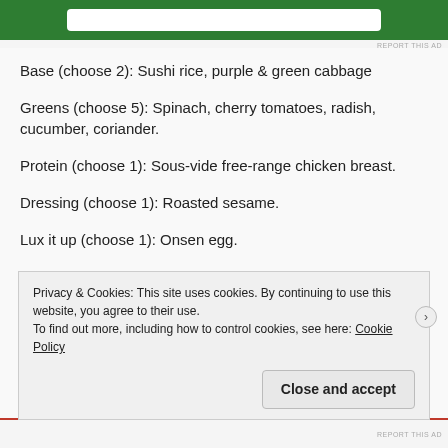[Figure (other): Green advertisement banner at top of page with white rounded rectangle inside]
Base (choose 2): Sushi rice, purple & green cabbage
Greens (choose 5): Spinach, cherry tomatoes, radish, cucumber, coriander.
Protein (choose 1): Sous-vide free-range chicken breast.
Dressing (choose 1): Roasted sesame.
Lux it up (choose 1): Onsen egg.
Privacy & Cookies: This site uses cookies. By continuing to use this website, you agree to their use. To find out more, including how to control cookies, see here: Cookie Policy
Close and accept